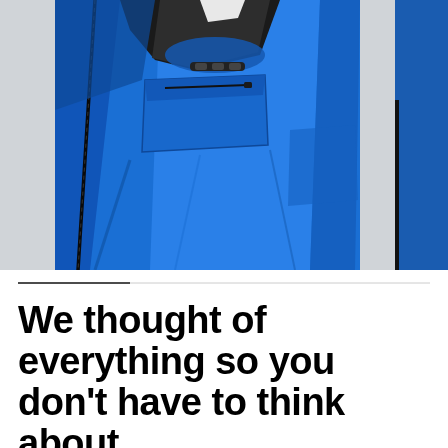[Figure (photo): Close-up product photo of a bright royal blue technical jacket with black collar/trim and a chest pocket with zipper detail, shot against a light gray background. A second blue jacket is partially visible at the right edge.]
We thought of everything so you don't have to think about